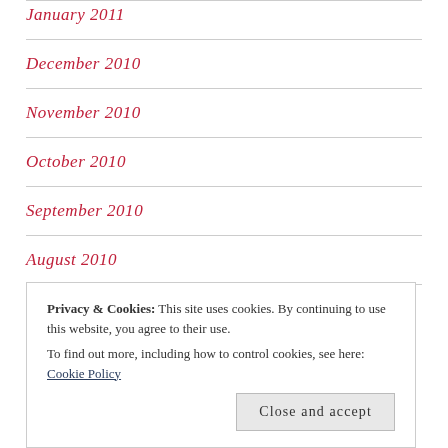January 2011
December 2010
November 2010
October 2010
September 2010
August 2010
July 2010
Privacy & Cookies: This site uses cookies. By continuing to use this website, you agree to their use.
To find out more, including how to control cookies, see here: Cookie Policy
Close and accept